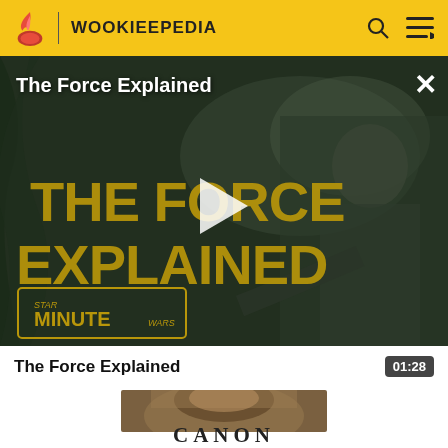WOOKIEEPEDIA
[Figure (screenshot): Video thumbnail for 'The Force Explained' showing Luke Skywalker in a jungle setting with golden movie-style title text 'THE FORCE EXPLAINED' and a Star Wars Minute logo. White play button in center. X close button top right.]
The Force Explained
01:28
[Figure (photo): Thumbnail of a robed figure (Yoda or similar character) in brown robes, cropped, below which text reads CANON in large serif letters]